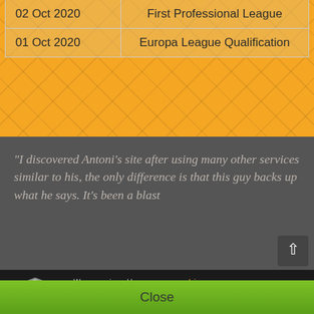| Date | Competition |
| --- | --- |
| 02 Oct 2020 | First Professional League |
| 01 Oct 2020 | Europa League Qualification |
"I discovered Antoni's site after using many other services similar to his, the only difference is that this guy backs up what he says. It's been a blast
[Figure (logo): Shield badge with RATED stars by soccer-advise.com]
We are reviewed by www.soccer-advise.com
All our track records are monitored and audited by Soccer Advise.
Feel free to write an honest review on us to improve our reputation in the community.
Close